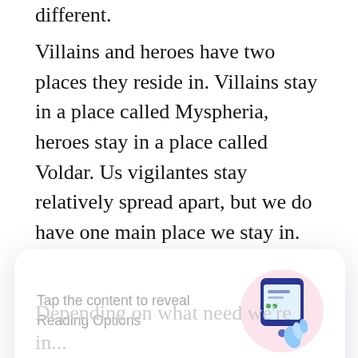different.
Villains and heroes have two places they reside in. Villains stay in a place called Myspheria, heroes stay in a place called Voldar. Us vigilantes stay relatively spread apart, but we do have one main place we stay in. We named it the Abditory. Abditory means a place where one can run to, which is initially what I did, what we all did.
J
[Figure (screenshot): A modal dialog overlay with text 'Tap the content to reveal Reading Options' alongside an illustration of a finger tapping a mobile phone screen, and a 'GOT IT' button below.]
Depending on what need we're in...